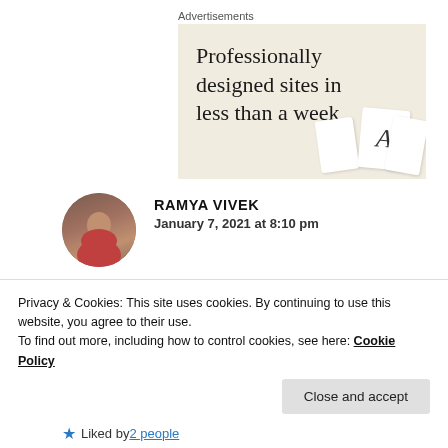Advertisements
[Figure (illustration): Advertisement banner with beige/cream background showing text 'Professionally designed sites in less than a week' with decorative card elements in the bottom right corner.]
RAMYA VIVEK
January 7, 2021 at 8:10 pm
Privacy & Cookies: This site uses cookies. By continuing to use this website, you agree to their use.
To find out more, including how to control cookies, see here: Cookie Policy
Close and accept
Liked by 2 people